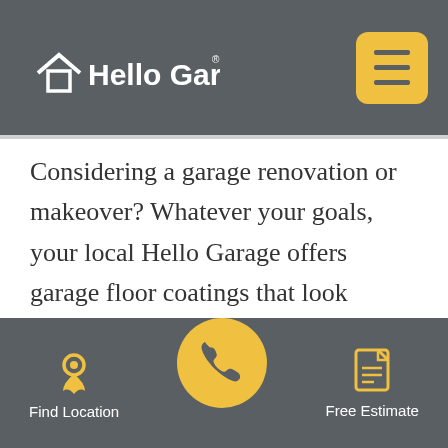Hello Garage
Considering a garage renovation or makeover? Whatever your goals, your local Hello Garage offers garage floor coatings that look beautiful and stand up against Virginia conditions to last for decades. Virginia garage contractors listed here also install garage cabinets, garage storage, garage lighting and accessories. Learn more about your local Hello Garage company in Virginia by visiting their
Find Location | (phone) | Free Estimate